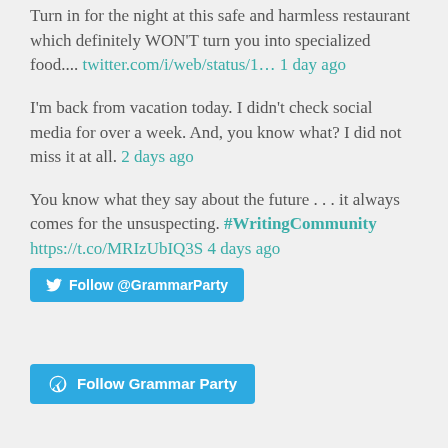Turn in for the night at this safe and harmless restaurant which definitely WON'T turn you into specialized food.... twitter.com/i/web/status/1... 1 day ago
I'm back from vacation today. I didn't check social media for over a week. And, you know what? I did not miss it at all. 2 days ago
You know what they say about the future . . . it always comes for the unsuspecting. #WritingCommunity https://t.co/MRIzUbIQ3S 4 days ago
Follow @GrammarParty
Follow Grammar Party